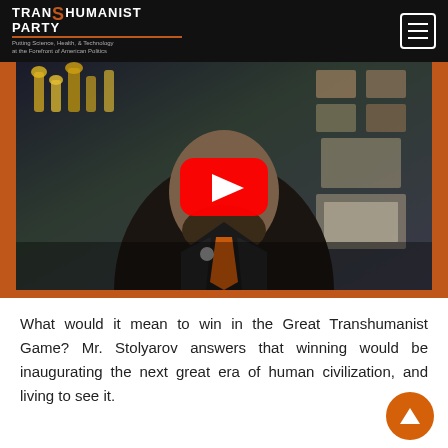TRANSHUMANIST PARTY — Putting Science, Health, & Technology at the Forefront of American Politics
[Figure (screenshot): YouTube video thumbnail showing a bearded man in a black suit with an orange tie, seated in an office with trophies and framed plaques on the wall. A red YouTube play button is centered on the image.]
What would it mean to win in the Great Transhumanist Game? Mr. Stolyarov answers that winning would be inaugurating the next great era of human civilization, and living to see it.